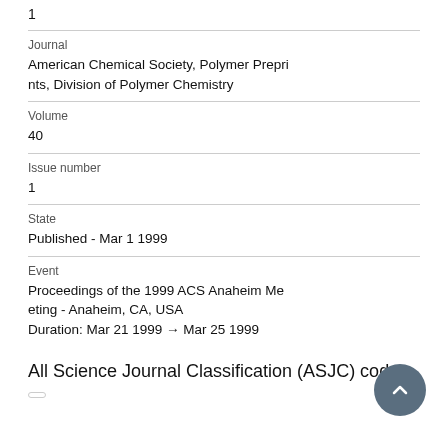1
Journal
American Chemical Society, Polymer Preprints, Division of Polymer Chemistry
Volume
40
Issue number
1
State
Published - Mar 1 1999
Event
Proceedings of the 1999 ACS Anaheim Meeting - Anaheim, CA, USA
Duration: Mar 21 1999 → Mar 25 1999
All Science Journal Classification (ASJC) codes